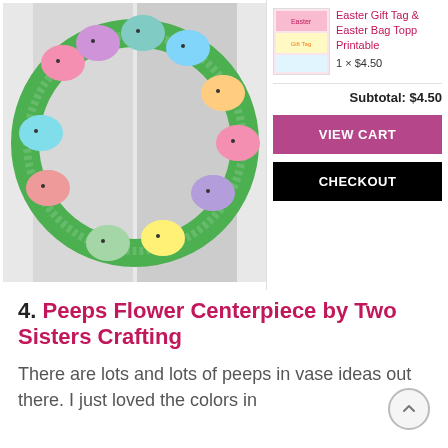[Figure (photo): A wreath made of colorful Peeps marshmallow bunnies (pink, purple, green, teal, orange, yellow) arranged on green foliage, hanging on a white door.]
[Figure (photo): Small thumbnail image of Easter gift tags and bag toppers printable.]
Easter Gift Tag & Easter Bag Topper Printable
1 × $4.50
Subtotal: $4.50
VIEW CART
CHECKOUT
4. Peeps Flower Centerpiece by Two Sisters Crafting
There are lots and lots of peeps in vase ideas out there. I just loved the colors in